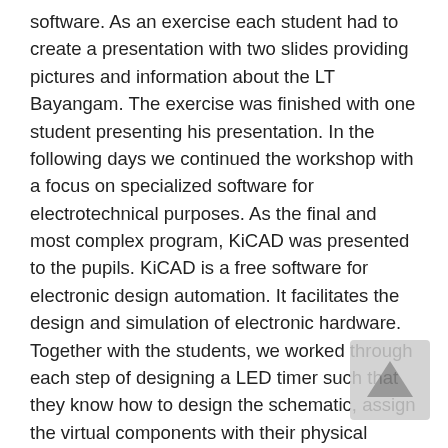software. As an exercise each student had to create a presentation with two slides providing pictures and information about the LT Bayangam. The exercise was finished with one student presenting his presentation. In the following days we continued the workshop with a focus on specialized software for electrotechnical purposes. As the final and most complex program, KiCAD was presented to the pupils. KiCAD is a free software for electronic design automation. It facilitates the design and simulation of electronic hardware. Together with the students, we worked through each step of designing a LED timer such that they know how to design the schematic, assign the virtual components with their physical footprints and finally design a PCB board which can be sent to a manufacturer. Although the workshop provided a lot of information in short time, all pupils took part in all of the classes and maintained a very high level of concentration throughout the program. We, as the project team, were also very happy to see that the pupils helped each other during the sessions and that all of them got very comfortable in working with the laptops.The LT Bayangam received 18 laptops, USB-Mouses, multi-outlet power strips, a beamer and a visualizer by TeoG. Further, the project team